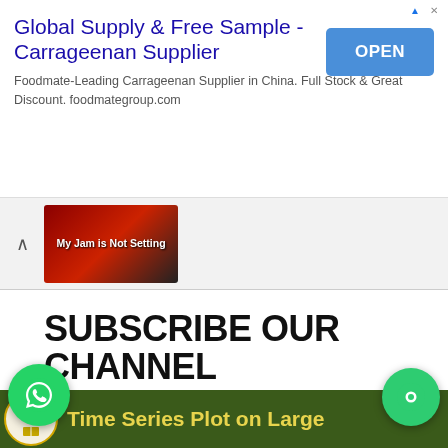[Figure (screenshot): Advertisement banner: 'Global Supply & Free Sample - Carrageenan Supplier' with blue OPEN button. Subtitle: Foodmate-Leading Carrageenan Supplier in China. Full Stock & Great Discount. foodmategroup.com]
[Figure (screenshot): Thumbnail strip showing a food/jam related image with text 'My Jam is Not Setting' and an up-arrow chevron]
SUBSCRIBE OUR CHANNEL
[Figure (logo): FSU (Food Science Universe) circular logo with laurel wreath and book icon, next to YouTube subscribe button showing 5K subscribers. Channel name: Food Science Universe- FSU]
OUR CHANNEL RECENT VIDEO
[Figure (screenshot): WhatsApp floating action button (green circle with phone icon) at bottom left]
[Figure (screenshot): Chat floating action button (green circle with chat icon) at bottom right]
[Figure (screenshot): Bottom video thumbnail with dark green background, FSU logo, and text 'Time Series Plot on Large']